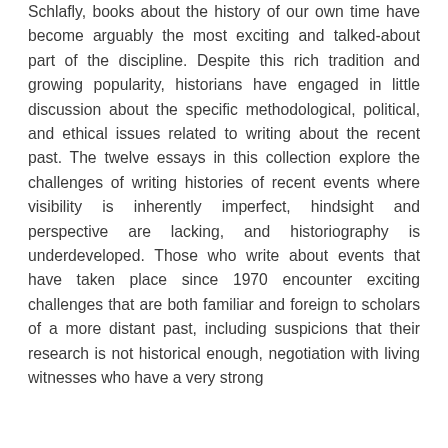Schlafly, books about the history of our own time have become arguably the most exciting and talked-about part of the discipline. Despite this rich tradition and growing popularity, historians have engaged in little discussion about the specific methodological, political, and ethical issues related to writing about the recent past. The twelve essays in this collection explore the challenges of writing histories of recent events where visibility is inherently imperfect, hindsight and perspective are lacking, and historiography is underdeveloped. Those who write about events that have taken place since 1970 encounter exciting challenges that are both familiar and foreign to scholars of a more distant past, including suspicions that their research is not historical enough, negotiation with living witnesses who have a very strong